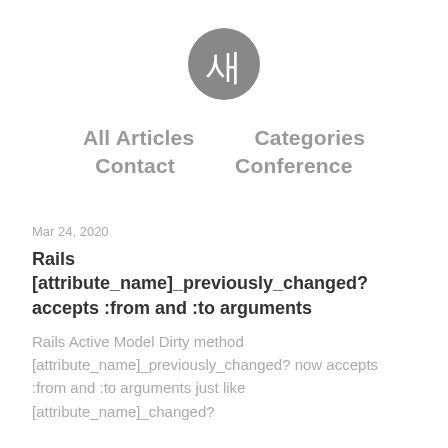[Figure (logo): Circular dark gray logo with Korean character '새' in white]
All Articles   Categories   Contact   Conference
Mar 24, 2020
Rails [attribute_name]_previously_changed? accepts :from and :to arguments
Rails Active Model Dirty method [attribute_name]_previously_changed? now accepts :from and :to arguments just like [attribute_name]_changed?